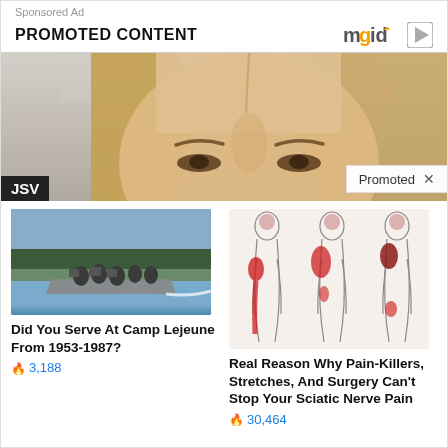Sponsored Ad
PROMOTED CONTENT
[Figure (photo): Close-up photo of a blonde woman's face with JSV label overlay and Promoted badge]
[Figure (photo): Military personnel on a speedboat in a river]
Did You Serve At Camp Lejeune From 1953-1987?
🔥 3,188
[Figure (illustration): Medical diagram showing human body silhouettes with red pain areas indicating sciatic nerve pain]
Real Reason Why Pain-Killers, Stretches, And Surgery Can't Stop Your Sciatic Nerve Pain
🔥 30,464